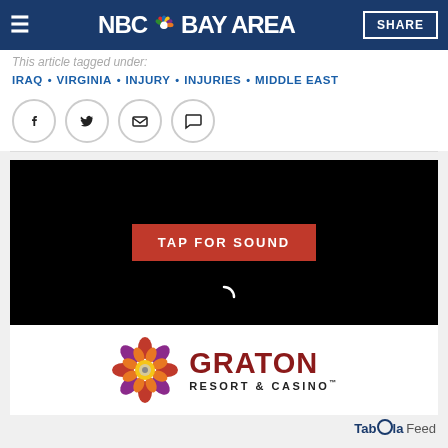NBC Bay Area - SHARE
This article tagged under:
IRAQ • VIRGINIA • INJURY • INJURIES • MIDDLE EAST
[Figure (screenshot): Social share icons: Facebook, Twitter, Email, Comment]
[Figure (screenshot): Video player with black background and red TAP FOR SOUND button, with loading spinner]
[Figure (logo): Graton Resort & Casino advertisement with colorful flower logo and red text]
Taboola Feed